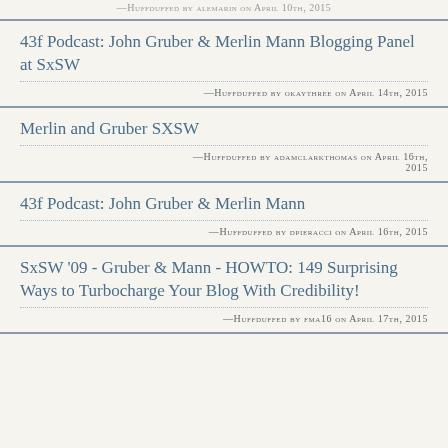—Huffduffed by alemarin on April 10th, 2015
43f Podcast: John Gruber & Merlin Mann Blogging Panel at SxSW
—Huffduffed by okaythree on April 14th, 2015
Merlin and Gruber SXSW
—Huffduffed by adamclarkthomas on April 16th, 2015
43f Podcast: John Gruber & Merlin Mann
—Huffduffed by dpieracci on April 16th, 2015
SxSW '09 - Gruber & Mann - HOWTO: 149 Surprising Ways to Turbocharge Your Blog With Credibility!
—Huffduffed by fma16 on April 17th, 2015